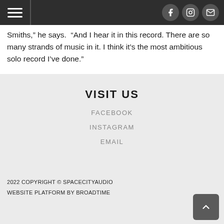Navigation bar with hamburger menu and social icons (Facebook, Instagram, Email)
Smiths,” he says.  “And I hear it in this record. There are so many strands of music in it. I think it’s the most ambitious solo record I’ve done.”
VISIT US
FACEBOOK
INSTAGRAM
EMAIL
2022 COPYRIGHT © SPACECITYAUDIO
WEBSITE PLATFORM BY BROADTIME